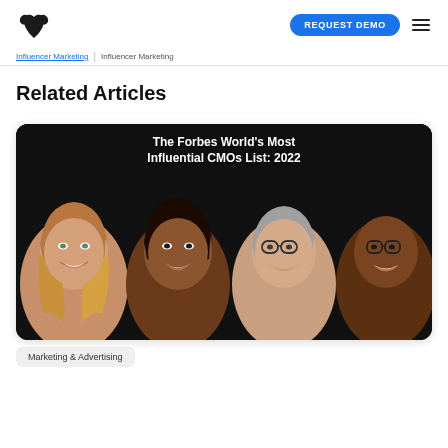REQUEST DEMO
Related Articles
[Figure (illustration): Article card thumbnail showing illustrated portraits of four people (two women, two men) against a dark background with the title 'The Forbes World's Most Influential CMOs List: 2022' at the top in white bold text.]
Marketing & Advertising